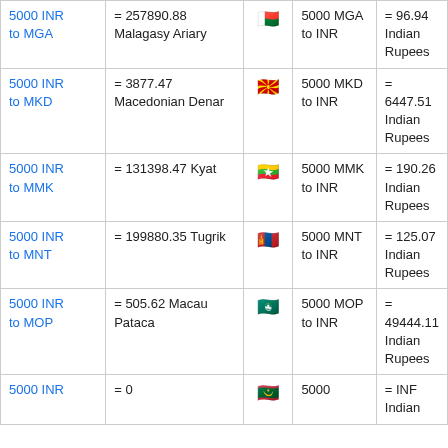| From | Conversion | Flag | Reverse | Reverse Conversion |
| --- | --- | --- | --- | --- |
| 5000 INR to MGA | = 257890.88 Malagasy Ariary | 🇲🇬 | 5000 MGA to INR | = 96.94 Indian Rupees |
| 5000 INR to MKD | = 3877.47 Macedonian Denar | 🇲🇰 | 5000 MKD to INR | = 6447.51 Indian Rupees |
| 5000 INR to MMK | = 131398.47 Kyat | 🇲🇲 | 5000 MMK to INR | = 190.26 Indian Rupees |
| 5000 INR to MNT | = 199880.35 Tugrik | 🇲🇳 | 5000 MNT to INR | = 125.07 Indian Rupees |
| 5000 INR to MOP | = 505.62 Macau Pataca | 🇲🇴 | 5000 MOP to INR | = 49444.11 Indian Rupees |
| 5000 INR to ? | = 0 | 🇲🇷 | 5000 | = INF Indian |